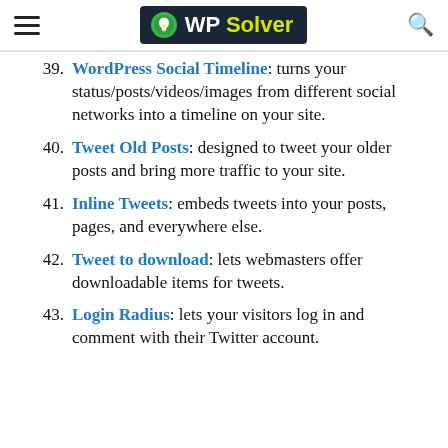WP Solver
39. WordPress Social Timeline: turns your status/posts/videos/images from different social networks into a timeline on your site.
40. Tweet Old Posts: designed to tweet your older posts and bring more traffic to your site.
41. Inline Tweets: embeds tweets into your posts, pages, and everywhere else.
42. Tweet to download: lets webmasters offer downloadable items for tweets.
43. Login Radius: lets your visitors log in and comment with their Twitter account.